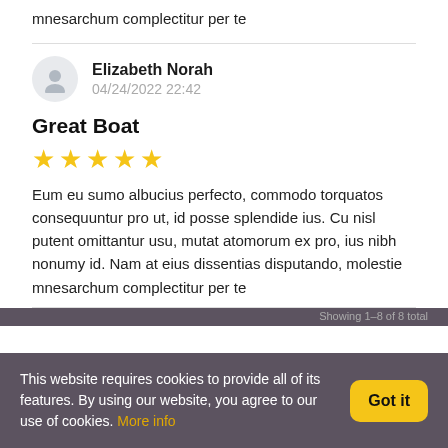mnesarchum complectitur per te
Elizabeth Norah
04/24/2022 22:42
Great Boat
[Figure (other): Five yellow star rating]
Eum eu sumo albucius perfecto, commodo torquatos consequuntur pro ut, id posse splendide ius. Cu nisl putent omittantur usu, mutat atomorum ex pro, ius nibh nonumy id. Nam at eius dissentias disputando, molestie mnesarchum complectitur per te
This website requires cookies to provide all of its features. By using our website, you agree to our use of cookies. More info